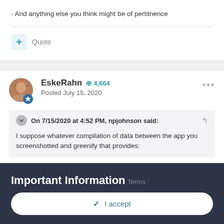- And anything else you think might be of pertitnence
Quote
EskeRahn  + 4,664
Posted July 15, 2020
On 7/15/2020 at 4:52 PM, npjohnson said:
I suppose whatever compilation of data between the app you screenshotted and greenify that provides:
Important Information
Terms
✓  I accept